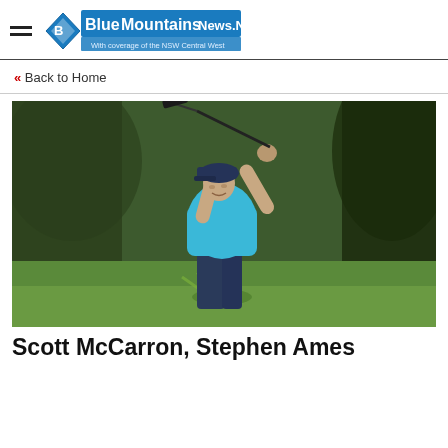Blue Mountains News.Net — With coverage of the NSW Central West
« Back to Home
[Figure (photo): A golfer in a blue shirt and dark cap completing a follow-through swing on a golf course, with grass flying from the divot. Background shows blurred green trees.]
Scott McCarron, Stephen Ames